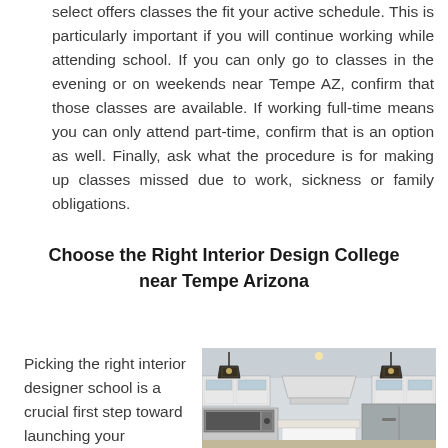select offers classes the fit your active schedule. This is particularly important if you will continue working while attending school. If you can only go to classes in the evening or on weekends near Tempe AZ, confirm that those classes are available. If working full-time means you can only attend part-time, confirm that is an option as well. Finally, ask what the procedure is for making up classes missed due to work, sickness or family obligations.
Choose the Right Interior Design College near Tempe Arizona
Picking the right interior designer school is a crucial first step toward launching your
[Figure (photo): Interior kitchen scene with white cabinets, hanging lantern pendant lights, stainless steel appliances including microwave and refrigerator, marble countertop island.]